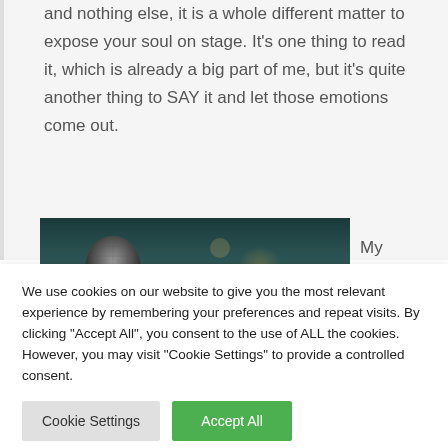and nothing else, it is a whole different matter to expose your soul on stage. It's one thing to read it, which is already a big part of me, but it's quite another thing to SAY it and let those emotions come out.
[Figure (photo): Photo of a microphone being held, dark teal/blue background with blurred bokeh light effects. A bejeweled or decorative microphone visible at lower left, hand partially visible.]
My
We use cookies on our website to give you the most relevant experience by remembering your preferences and repeat visits. By clicking "Accept All", you consent to the use of ALL the cookies. However, you may visit "Cookie Settings" to provide a controlled consent.